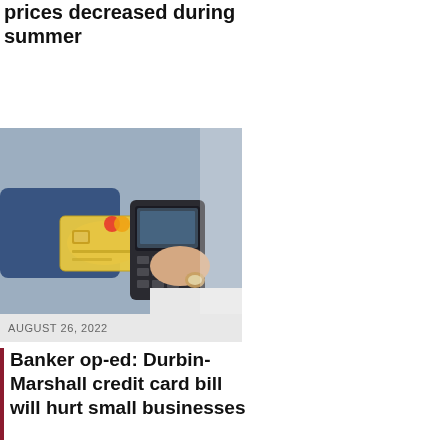prices decreased during summer
[Figure (photo): Person handing a credit card to a cashier over a card payment terminal]
AUGUST 26, 2022
Banker op-ed: Durbin-Marshall credit card bill will hurt small businesses